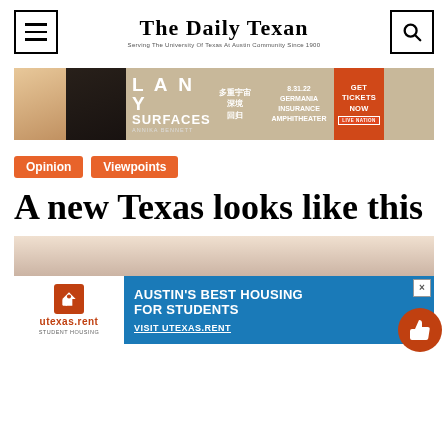The Daily Texan — Serving The University Of Texas At Austin Community Since 1900
[Figure (photo): Advertisement banner for LANY Surfaces featuring Annika Bennett concert at Germania Insurance Amphitheater on 8.31.22 with CJK text and GET TICKETS NOW call to action]
Opinion
Viewpoints
A new Texas looks like this
[Figure (photo): Article header image showing students working on laptops with an overlaid advertisement for utexas.rent Student Housing: Austin's Best Housing For Students - Visit UTEXAS.RENT]